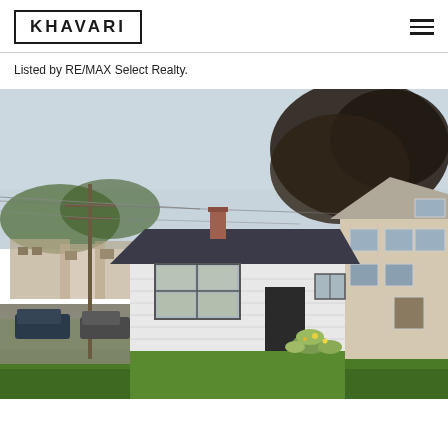[Figure (logo): KHAVARI logo in a rectangular border]
Listed by RE/MAX Select Realty.
[Figure (photo): Exterior photo of a small white single-story house with green lawn in front, utility pole on left, large tree on right, neighboring beige two-story house on right side, overcast sky]